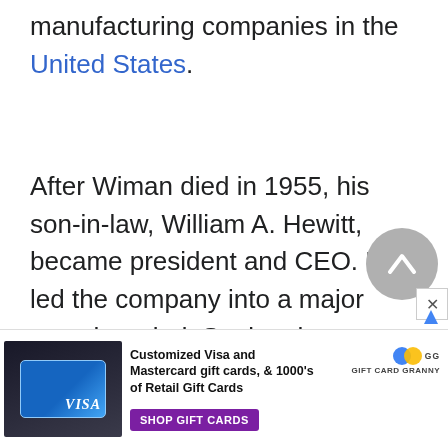manufacturing companies in the United States.
After Wiman died in 1955, his son-in-law, William A. Hewitt, became president and CEO. He led the company into a major growth period. Seeing that Deere’s decentralized operations needed to be coordinated, Hewitt accomplished this by increasing communication between different branches of the company. He also pro...
[Figure (other): Scroll-to-top button: circular grey button with an upward-pointing chevron icon]
[Figure (other): Advertisement banner for Gift Card Granny: Customized Visa and Mastercard gift cards, & 1000's of Retail Gift Cards. Shop Gift Cards button. GG Gift Card Granny logo.]